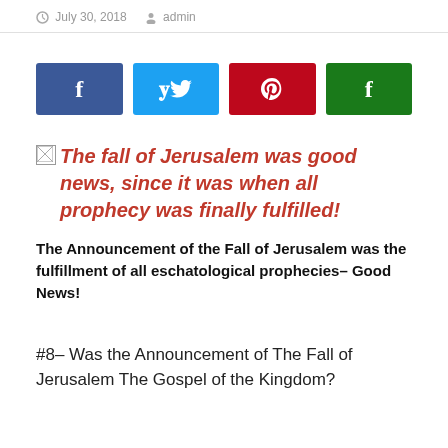July 30, 2018  admin
[Figure (infographic): Social sharing buttons: Facebook (dark blue), Twitter (light blue), Pinterest (dark red), Flipboard (green), each showing their respective icons.]
The fall of Jerusalem was good news, since it was when all prophecy was finally fulfilled!
The Announcement of the Fall of Jerusalem was the fulfillment of all eschatological prophecies– Good News!
#8– Was the Announcement of The Fall of Jerusalem The Gospel of the Kingdom?